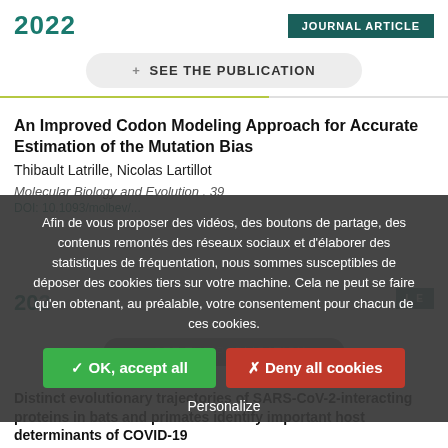2022
JOURNAL ARTICLE
+ SEE THE PUBLICATION
An Improved Codon Modeling Approach for Accurate Estimation of the Mutation Bias
Thibault Latrille, Nicolas Lartillot
Molecular Biology and Evolution . 39
DOI: 10.1093/molbev/...
Afin de vous proposer des vidéos, des boutons de partage, des contenus remontés des réseaux sociaux et d'élaborer des statistiques de fréquentation, nous sommes susceptibles de déposer des cookies tiers sur votre machine. Cela ne peut se faire qu'en obtenant, au préalable, votre consentement pour chacun de ces cookies.
✓ OK, accept all
✗ Deny all cookies
Personalize
Distinct evolutionary trajectories of SARS-CoV-2-interacting proteins in bats and primates identify important host determinants of COVID-19